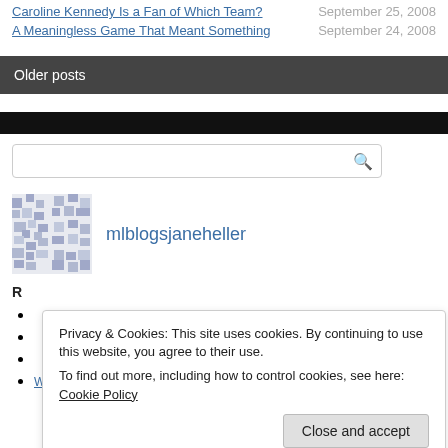Caroline Kennedy Is a Fan of Which Team? — September 25, 2008
A Meaningless Game That Meant Something — September 24, 2008
Older posts
[Figure (other): Black navigation/header bar]
[Figure (other): Search input box with magnifying glass icon]
[Figure (other): Pixelated avatar icon for mlblogsjaneheller]
mlblogsjaneheller
Privacy & Cookies: This site uses cookies. By continuing to use this website, you agree to their use.
To find out more, including how to control cookies, see here: Cookie Policy
Close and accept
R
What Will Cashman Say Next?